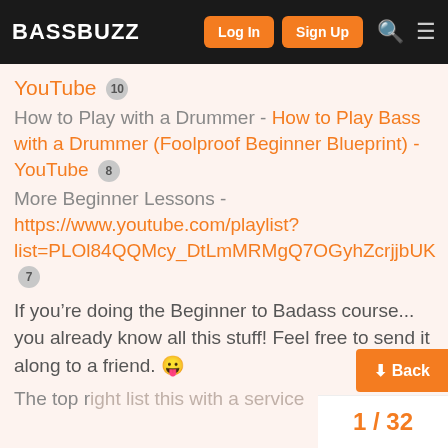BASSBUZZ | Log In | Sign Up
YouTube 10
How to Play with a Drummer - How to Play Bass with a Drummer (Foolproof Beginner Blueprint) - YouTube 8
More Beginner Lessons - https://www.youtube.com/playlist?list=PLOl84QQMcy_DtLmMRMgQ7OGyhZcrjjbUK 7
If you're doing the Beginner to Badass course... you already know all this stuff! Feel free to send it along to a friend. 😛
The top right list this with a service
1 / 32